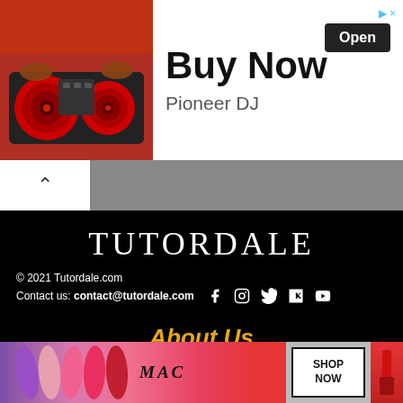[Figure (screenshot): Advertisement banner: DJ turntable image on left, 'Buy Now' text with 'Open' button and 'Pioneer DJ' text on white background]
[Figure (screenshot): Navigation bar with back arrow button on grey background]
TUTORDALE
© 2021 Tutordale.com
Contact us: contact@tutordale.com [social icons: Facebook, Instagram, Twitter, VK, YouTube]
About Us
HOME
PRIVACY POLICY
TERMS
DISCLAIMER
[Figure (screenshot): Bottom advertisement banner for MAC cosmetics with lipstick products and 'SHOP NOW' button]